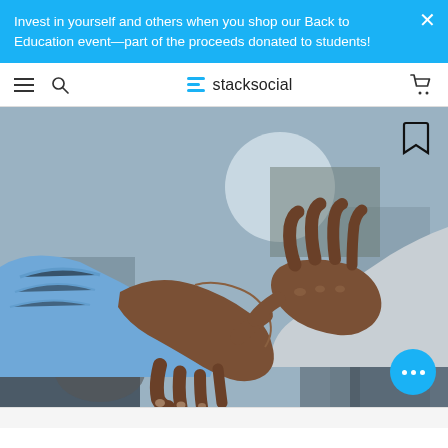Invest in yourself and others when you shop our Back to Education event—part of the proceeds donated to students!
stacksocial navigation bar
[Figure (photo): Close-up photograph of two people shaking hands in a professional setting. One person wears a blue striped shirt, the other a white shirt. The background shows a blurred office environment with chairs and a window.]